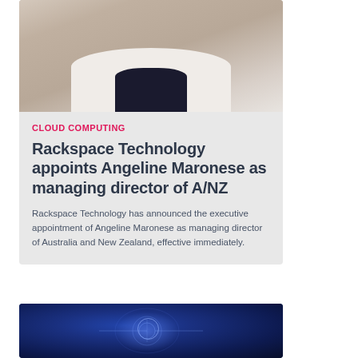[Figure (photo): Portrait photo of Angeline Maronese, a woman with long brown hair wearing a white blazer over a dark top, against a light background]
CLOUD COMPUTING
Rackspace Technology appoints Angeline Maronese as managing director of A/NZ
Rackspace Technology has announced the executive appointment of Angeline Maronese as managing director of Australia and New Zealand, effective immediately.
[Figure (photo): Technology background image with blue glowing digital interface elements, human figure silhouette with holographic displays]